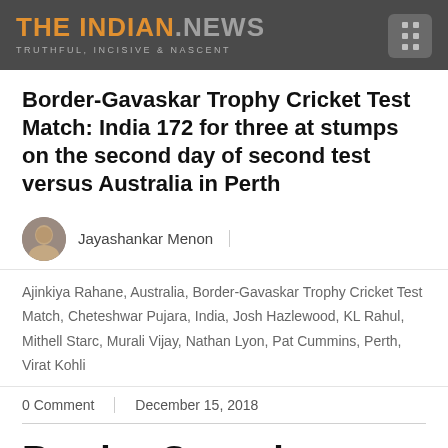THE INDIAN.NEWS — TRUTHFUL, INCISIVE & NASCENT
Border-Gavaskar Trophy Cricket Test Match: India 172 for three at stumps on the second day of second test versus Australia in Perth
Jayashankar Menon
Ajinkiya Rahane, Australia, Border-Gavaskar Trophy Cricket Test Match, Cheteshwar Pujara, India, Josh Hazlewood, KL Rahul, Mithell Starc, Murali Vijay, Nathan Lyon, Pat Cummins, Perth, Virat Kohli
0 Comment | December 15, 2018
Border-Gavaskar Trophy Cricket Test Match: India